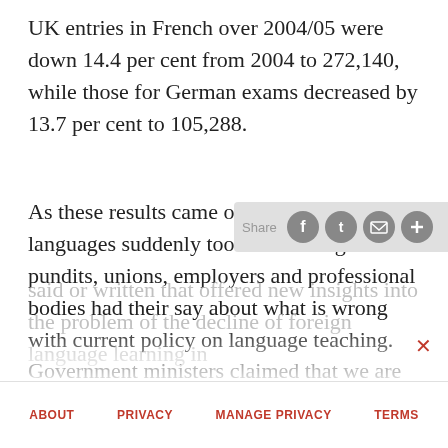UK entries in French over 2004/05 were down 14.4 per cent from 2004 to 272,140, while those for German exams decreased by 13.7 per cent to 105,288.
As these results came out this summer, languages suddenly took centre stage as the pundits, unions, employers and professional bodies had their say about what is wrong with current policy on language teaching. Government ministers claimed that we are just going through a temporary blip before the full force of primary modern foreign language learning gathers momentum. But there was very little said or written that offered new insights into the problem of the decline of foreign language learning in
[Figure (other): Share bar with social media icons: Facebook, Twitter, Email, and a plus button]
ABOUT   PRIVACY   MANAGE PRIVACY   TERMS